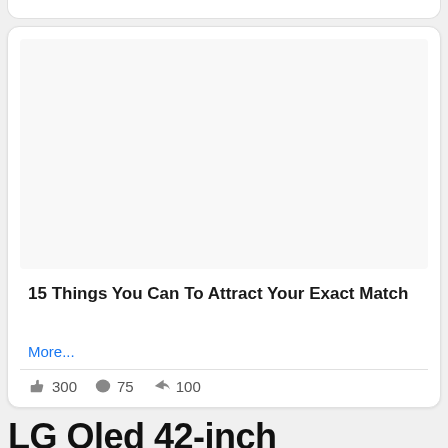[Figure (screenshot): White card UI element with empty image area at top]
15 Things You Can To Attract Your Exact Match
More...
300  75  100
LG Oled 42-inch televisions (42C2) will indeed have an Oled Evo panel, later